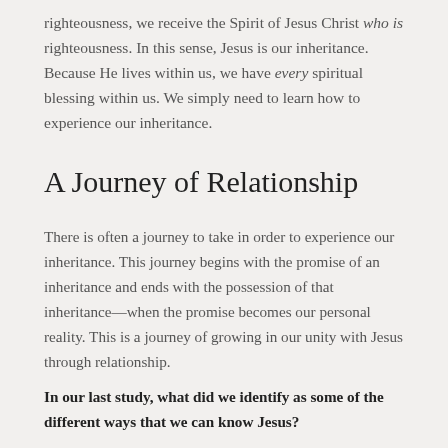righteousness, we receive the Spirit of Jesus Christ who is righteousness. In this sense, Jesus is our inheritance. Because He lives within us, we have every spiritual blessing within us. We simply need to learn how to experience our inheritance.
A Journey of Relationship
There is often a journey to take in order to experience our inheritance. This journey begins with the promise of an inheritance and ends with the possession of that inheritance—when the promise becomes our personal reality. This is a journey of growing in our unity with Jesus through relationship.
In our last study, what did we identify as some of the different ways that we can know Jesus?